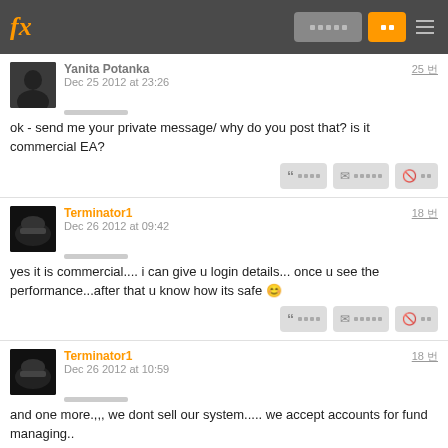fx [nav buttons]
Yanita Potanka
Dec 25 2012 at 23:26
ok - send me your private message/ why do you post that? is it commercial EA?
Terminator1
Dec 26 2012 at 09:42
yes it is commercial.... i can give u login details... once u see the performance...after that u know how its safe 😊
Terminator1
Dec 26 2012 at 10:59
and one more.,,,  we dont sell our system..... we accept accounts for fund managing..